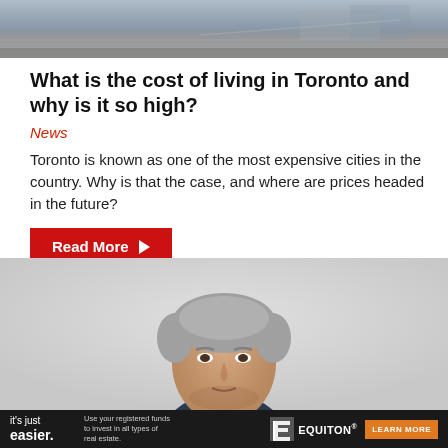[Figure (photo): Top aerial or street-level photo strip, partially visible]
What is the cost of living in Toronto and why is it so high?
News
Toronto is known as one of the most expensive cities in the country. Why is that the case, and where are prices headed in the future?
Read More
[Figure (photo): Portrait photo of a middle-aged man in a dark business suit with grey hair, against a light grey background]
it's just easier. Use your registered funds to invest in all types of real estate. EQUITON® LEARN MORE